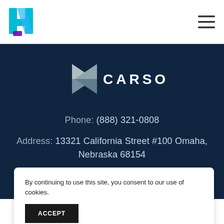[Figure (logo): Stylized H logo in cyan/blue with purple accent at bottom, top-left of page header]
[Figure (logo): Hamburger menu icon (three horizontal lines) in top-right of header]
[Figure (logo): Carson logo: geometric arrow/chevron shape in white/grey on dark blue background, with CARSON text in white capitals]
Phone: (888) 321-0808
Address: 13321 California Street #100 Omaha, Nebraska 68154
By continuing to use this site, you consent to our use of cookies.
ACCEPT